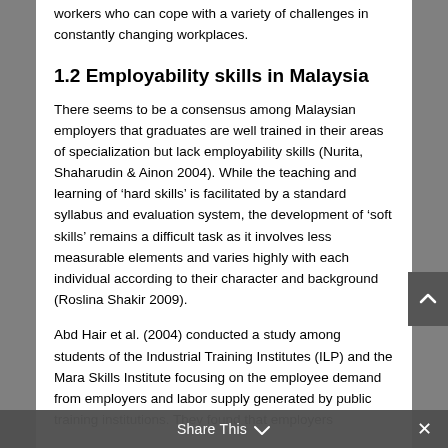workers who can cope with a variety of challenges in constantly changing workplaces.
1.2 Employability skills in Malaysia
There seems to be a consensus among Malaysian employers that graduates are well trained in their areas of specialization but lack employability skills (Nurita, Shaharudin & Ainon 2004). While the teaching and learning of 'hard skills' is facilitated by a standard syllabus and evaluation system, the development of 'soft skills' remains a difficult task as it involves less measurable elements and varies highly with each individual according to their character and background (Roslina Shakir 2009).
Abd Hair et al. (2004) conducted a study among students of the Industrial Training Institutes (ILP) and the Mara Skills Institute focusing on the employee demand from employers and labor supply generated by public training institutions. They found that employers
Share This ∨  ✕